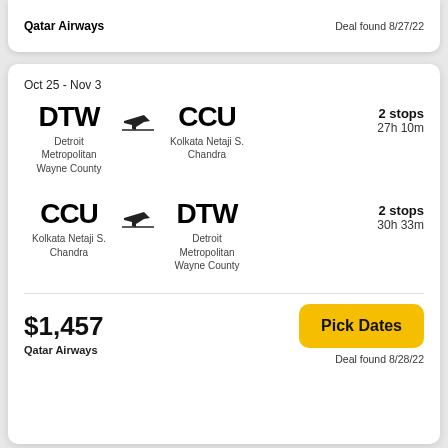Qatar Airways
Deal found 8/27/22
Oct 25 - Nov 3
DTW → CCU
Detroit Metropolitan Wayne County → Kolkata Netaji S. Chandra
2 stops
27h 10m
CCU → DTW
Kolkata Netaji S. Chandra → Detroit Metropolitan Wayne County
2 stops
30h 33m
$1,457
Qatar Airways
Pick Dates
Deal found 8/28/22